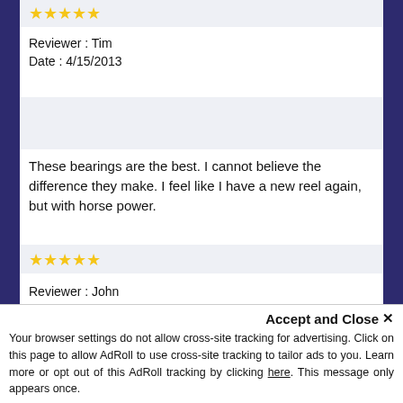[Figure (other): 5 gold stars rating (top, cropped)]
Reviewer : Tim
Date : 4/15/2013
[Figure (other): Gray placeholder box]
These bearings are the best. I cannot believe the difference they make. I feel like I have a new reel again, but with horse power.
[Figure (other): 5 gold stars rating]
Reviewer : John
Date : 4/24/2013
[Figure (other): Gray placeholder box]
I was very happy to get my bearing order # 201xxxx. As soon as I got home from work I installed 5 Set's of orange seal bearing to 5 of my Shimano reels, what a difference it has made. Cant get to my next fishing tournament fast enough to see how the perform...
Accept and Close ✕
Your browser settings do not allow cross-site tracking for advertising. Click on this page to allow AdRoll to use cross-site tracking to tailor ads to you. Learn more or opt out of this AdRoll tracking by clicking here. This message only appears once.